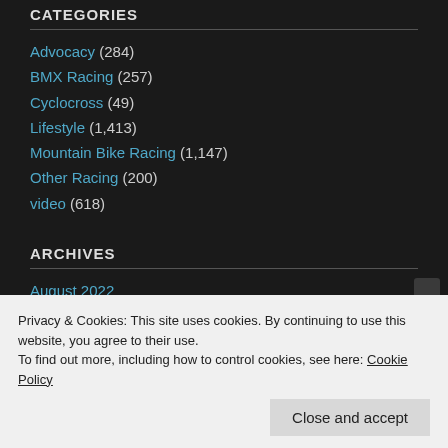CATEGORIES
Advocacy (284)
BMX Racing (257)
Cyclocross (49)
Lifestyle (1,413)
Mountain Bike Racing (1,147)
Other Racing (200)
video (618)
ARCHIVES
August 2022
July 2022
Privacy & Cookies: This site uses cookies. By continuing to use this website, you agree to their use.
To find out more, including how to control cookies, see here: Cookie Policy
Close and accept